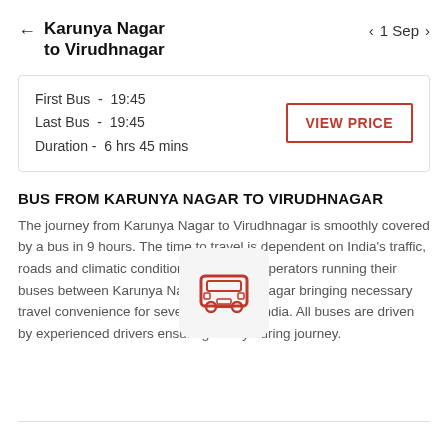Karunya Nagar to Virudhnagar
1 Sep
| First Bus - | 19:45 |
| Last Bus - | 19:45 |
| Duration - | 6 hrs 45 mins |
VIEW PRICE
BUS FROM KARUNYA NAGAR TO VIRUDHNAGAR
[Figure (illustration): Red bus icon on light grey rounded square background]
The journey from Karunya Nagar to Virudhnagar is smoothly covered by a bus in 9 hours. The time to travel is dependent on India's traffic, roads and climatic conditions. There are operators running their buses between Karunya Nagar to Virudhnagar bringing necessary travel convenience for several people in India. All buses are driven by experienced drivers ensuring safety during journey.